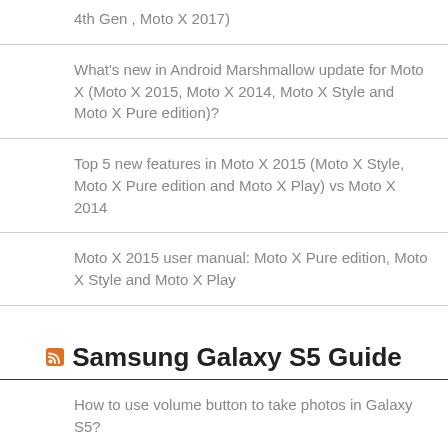4th Gen , Moto X 2017)
What's new in Android Marshmallow update for Moto X (Moto X 2015, Moto X 2014, Moto X Style and Moto X Pure edition)?
Top 5 new features in Moto X 2015 (Moto X Style, Moto X Pure edition and Moto X Play) vs Moto X 2014
Moto X 2015 user manual: Moto X Pure edition, Moto X Style and Moto X Play
Samsung Galaxy S5 Guide
How to use volume button to take photos in Galaxy S5?
How to use Galaxy S5 camera voice control?